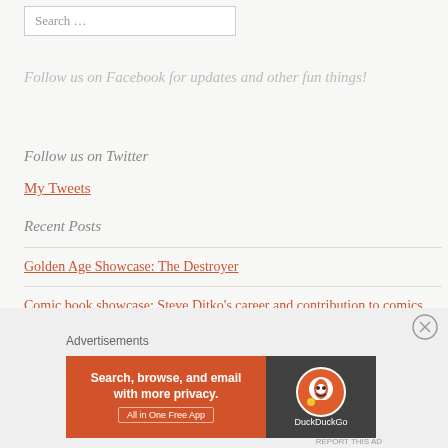Search ...
Follow us on Facebook for updates and other fun things!
Follow us on Twitter
My Tweets
Recent Posts
Golden Age Showcase: The Destroyer
Comic book showcase: Steve Ditko’s career and contribution to comics
Advertisements
[Figure (screenshot): DuckDuckGo advertisement banner: orange left section reading 'Search, browse, and email with more privacy. All in One Free App' and dark right section with DuckDuckGo logo]